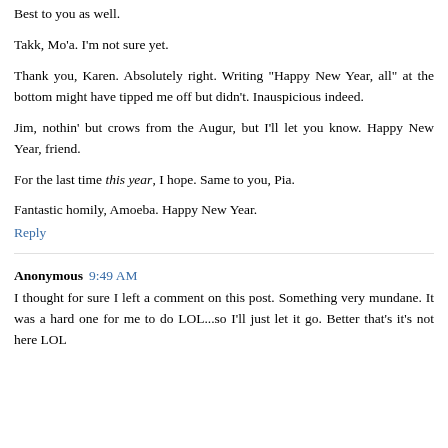Best to you as well.
Takk, Mo'a. I'm not sure yet.
Thank you, Karen. Absolutely right. Writing "Happy New Year, all" at the bottom might have tipped me off but didn't. Inauspicious indeed.
Jim, nothin' but crows from the Augur, but I'll let you know. Happy New Year, friend.
For the last time this year, I hope. Same to you, Pia.
Fantastic homily, Amoeba. Happy New Year.
Reply
Anonymous 9:49 AM
I thought for sure I left a comment on this post. Something very mundane. It was a hard one for me to do LOL...so I'll just let it go. Better that's it's not here LOL